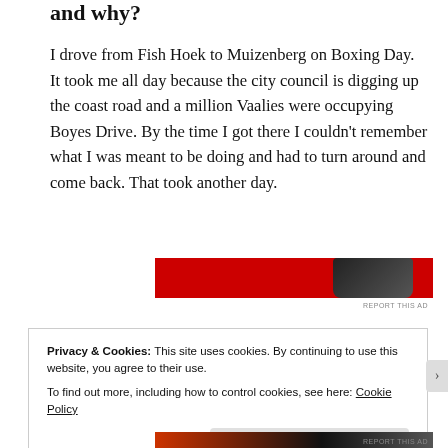and why?
I drove from Fish Hoek to Muizenberg on Boxing Day. It took me all day because the city council is digging up the coast road and a million Vaalies were occupying Boyes Drive. By the time I got there I couldn’t remember what I was meant to be doing and had to turn around and come back. That took another day.
[Figure (other): Red advertisement banner with a remote control graphic]
REPORT THIS AD
Privacy & Cookies: This site uses cookies. By continuing to use this website, you agree to their use.
To find out more, including how to control cookies, see here: Cookie Policy
Close and accept